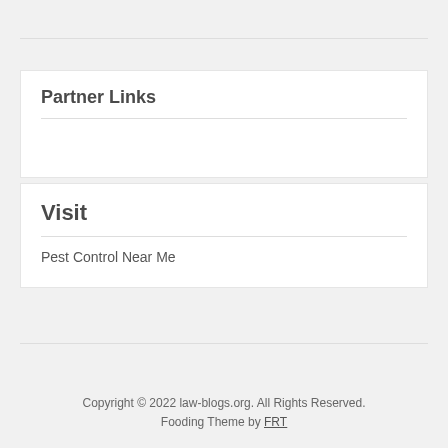Partner Links
Visit
Pest Control Near Me
Copyright © 2022 law-blogs.org. All Rights Reserved. Fooding Theme by FRT